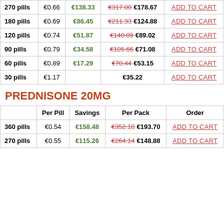|  | Per Pill | Savings | Per Pack | Order |
| --- | --- | --- | --- | --- |
| 270 pills | €0.66 | €138.33 | €317.00 €178.67 | ADD TO CART |
| 180 pills | €0.69 | €86.45 | €211.33 €124.88 | ADD TO CART |
| 120 pills | €0.74 | €51.87 | €140.89 €89.02 | ADD TO CART |
| 90 pills | €0.79 | €34.58 | €105.66 €71.08 | ADD TO CART |
| 60 pills | €0.89 | €17.29 | €70.44 €53.15 | ADD TO CART |
| 30 pills | €1.17 |  | €35.22 | ADD TO CART |
PREDNISONE 20MG
|  | Per Pill | Savings | Per Pack | Order |
| --- | --- | --- | --- | --- |
| 360 pills | €0.54 | €158.48 | €352.18 €193.70 | ADD TO CART |
| 270 pills | €0.55 | €115.26 | €264.14 €148.88 | ADD TO CART |